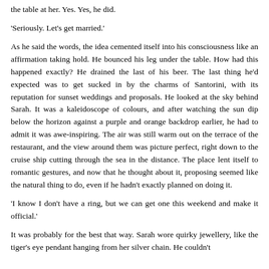the table at her. Yes. Yes, he did.
'Seriously. Let's get married.'
As he said the words, the idea cemented itself into his consciousness like an affirmation taking hold. He bounced his leg under the table. How had this happened exactly? He drained the last of his beer. The last thing he'd expected was to get sucked in by the charms of Santorini, with its reputation for sunset weddings and proposals. He looked at the sky behind Sarah. It was a kaleidoscope of colours, and after watching the sun dip below the horizon against a purple and orange backdrop earlier, he had to admit it was awe-inspiring. The air was still warm out on the terrace of the restaurant, and the view around them was picture perfect, right down to the cruise ship cutting through the sea in the distance. The place lent itself to romantic gestures, and now that he thought about it, proposing seemed like the natural thing to do, even if he hadn't exactly planned on doing it.
'I know I don't have a ring, but we can get one this weekend and make it official.'
It was probably for the best that way. Sarah wore quirky jewellery, like the tiger's eye pendant hanging from her silver chain. He couldn't